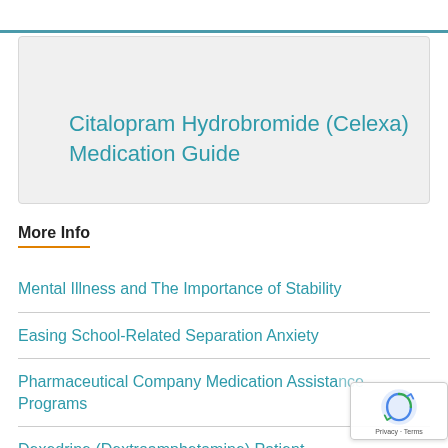Citalopram Hydrobromide (Celexa) Medication Guide
More Info
Mental Illness and The Importance of Stability
Easing School-Related Separation Anxiety
Pharmaceutical Company Medication Assistance Programs
Dexedrine (Dextroamphetamine) Patient